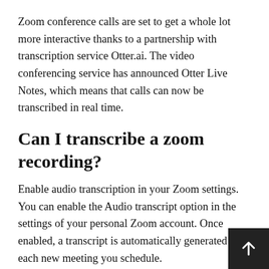Zoom conference calls are set to get a whole lot more interactive thanks to a partnership with transcription service Otter.ai. The video conferencing service has announced Otter Live Notes, which means that calls can now be transcribed in real time.
Can I transcribe a zoom recording?
Enable audio transcription in your Zoom settings. You can enable the Audio transcript option in the settings of your personal Zoom account. Once enabled, a transcript is automatically generated for each new meeting you schedule.
Can you transcribe a Teams meeting?
You can use the Microsoft Teams admin center or PowerShell to set a Teams meeting policy to contro